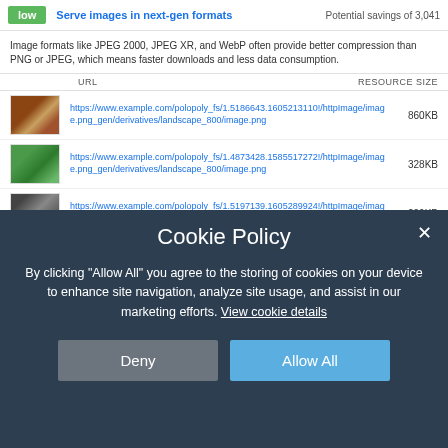low | Serve images in next-gen formats | Potential savings of 3,041
Image formats like JPEG 2000, JPEG XR, and WebP often provide better compression than PNG or JPEG, which means faster downloads and less data consumption.
| URL | RESOURCE SIZE |
| --- | --- |
| https://www.example.com/polopoly_fs/1.5186643.1605213110!/httpImage/image.png_gen/derivatives/landscape_800/image.png | 860KB |
| https://www.example.com/polopoly_fs/1.4873428.1585517272!/httpImage/image.png_gen/derivatives/landscape_800/image.png | 328KB |
| https://www.example.com/polopoly_fs/1.5197139.1605289924!/httpImage/image.jpg_gen/derivatives/landscape_940/image.jpg | 299KB |
Clicking the audit reveals the list of images served in older formats, and potential reduction in file size by moving to newer formats like WebP.
Cookie Policy
By clicking "Allow All" you agree to the storing of cookies on your device to enhance site navigation, analyze site usage, and assist in our marketing efforts. View cookie details
Deny
Allow All